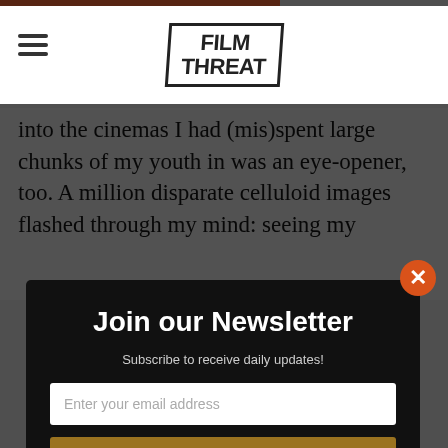Film Threat
into the cinemas I had (mis)spent large chunks of my youth in was an eye-opener, too. A million disparate celluloid images flashed through my mind: seeing my
Join our Newsletter
Subscribe to receive daily updates!
Enter your email address
SIGN UP
school. Seeing the Eddie Murphy film "The Golden Child" with my brother and him puking on the floor through an upset stomach; a fairly apt criticism of the film, still. Opening the back door of Cinema 1 to let my